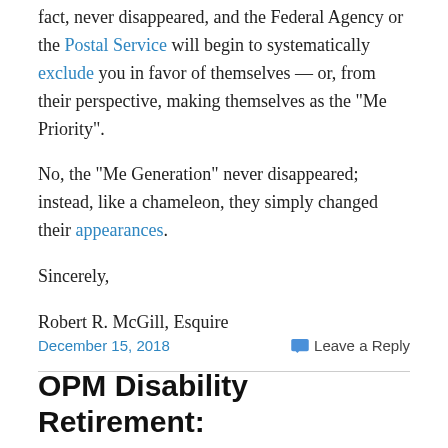fact, never disappeared, and the Federal Agency or the Postal Service will begin to systematically exclude you in favor of themselves — or, from their perspective, making themselves as the “Me Priority”.
No, the “Me Generation” never disappeared; instead, like a chameleon, they simply changed their appearances.
Sincerely,
Robert R. McGill, Esquire
December 15, 2018    Leave a Reply
OPM Disability Retirement: